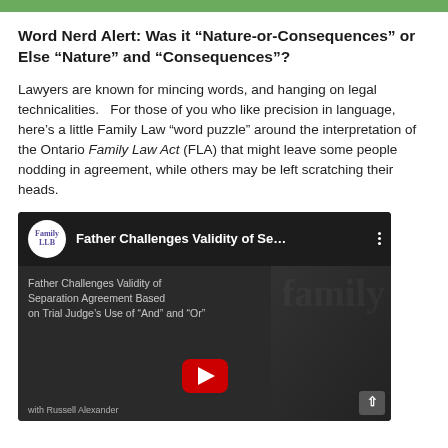Word Nerd Alert: Was it “Nature-or-Consequences” or Else “Nature” and “Consequences”?
Lawyers are known for mincing words, and hanging on legal technicalities.   For those of you who like precision in language, here’s a little Family Law “word puzzle” around the interpretation of the Ontario Family Law Act (FLA) that might leave some people nodding in agreement, while others may be left scratching their heads.
[Figure (screenshot): YouTube video thumbnail: 'Father Challenges Validity of Se...' with FamilyLLB channel logo. Video subtitle text reads 'Father Challenges Validity of Separation Agreement Based on Trial Judge’s Use of "And" and "Or"' with 'with Russell Alexander' at the bottom.]